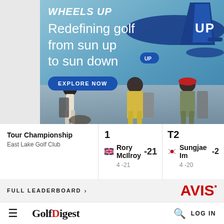[Figure (photo): Wheels Up advertisement banner showing golfers walking on an airport tarmac with a blue airplane. Text reads 'WHEELS UP - Redefining golf from sun up to sun down' with an 'EXPLORE NOW' button.]
| Event | Position | Player | Score | Rounds |
| --- | --- | --- | --- | --- |
| Tour Championship
East Lake Golf Club | 1 | Rory McIlroy | -21 | 4 -21 |
|  | T2 | Sungjae Im | -2x | 4 -20 |
FULL LEADERBOARD >
[Figure (logo): AVIS logo in red with star superscript]
[Figure (logo): Golf Digest logo with hamburger menu and search icon and LOG IN text]